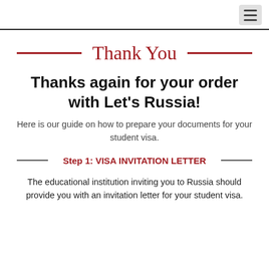☰
Thank You
Thanks again for your order with Let's Russia!
Here is our guide on how to prepare your documents for your student visa.
Step 1: VISA INVITATION LETTER
The educational institution inviting you to Russia should provide you with an invitation letter for your student visa.